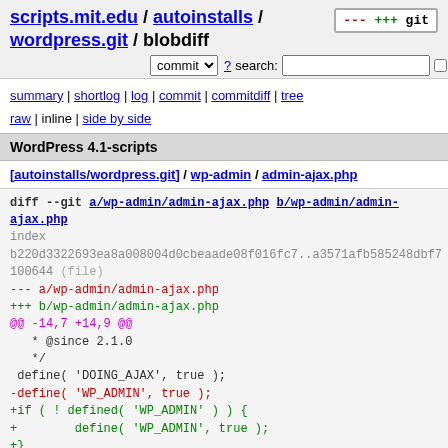scripts.mit.edu / autoinstalls / wordpress.git / blobdiff
commit search: re
summary | shortlog | log | commit | commitdiff | tree
raw | inline | side by side
WordPress 4.1-scripts
[autoinstalls/wordpress.git] / wp-admin / admin-ajax.php
diff --git a/wp-admin/admin-ajax.php b/wp-admin/admin-ajax.php
index
b220d3322693ea8a008004d0cbeaade08f016fc7..a3571afb585248dbf7
100644 (file)
--- a/wp-admin/admin-ajax.php
+++ b/wp-admin/admin-ajax.php
@@ -14,7 +14,9 @@
   * @since 2.1.0
   */
 define( 'DOING_AJAX', true );
-define( 'WP_ADMIN', true );
+if ( ! defined( 'WP_ADMIN' ) ) {
+        define( 'WP_ADMIN', true );
+}

 /** Load WordPress Bootstrap */
 require_once( dirname( dirname( __FILE__ ) ) ) and '/wp-load.php